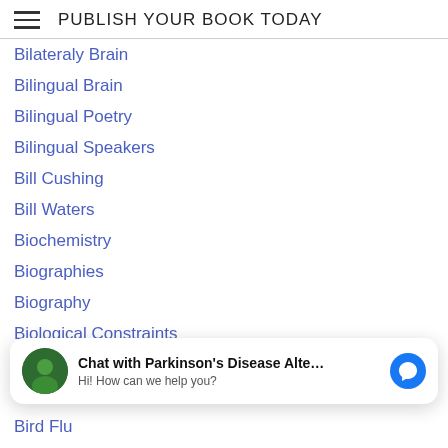PUBLISH YOUR BOOK TODAY
Bilateraly Brain
Bilingual Brain
Bilingual Poetry
Bilingual Speakers
Bill Cushing
Bill Waters
Biochemistry
Biographies
Biography
Biological Constraints
Biophysics
Bipolar Disorder
Bird Flu
Birthday Gift
[Figure (screenshot): Chat overlay: Chat with Parkinson's Disease Alte... Hi! How can we help you?]
Bitter
Blood and Book...